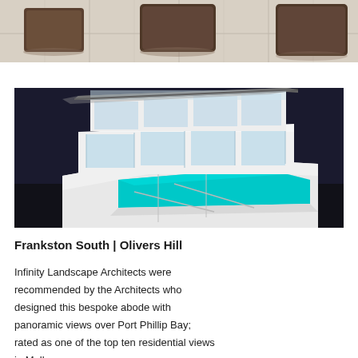[Figure (photo): Partial view of a modern interior living space showing dark brown upholstered furniture on a light tile floor, cropped at top of page]
[Figure (photo): Architectural render of a modern multi-storey white house with large glass walls and an infinity pool, set against a dark background, located at Frankston South, Olivers Hill]
Frankston South | Olivers Hill
Infinity Landscape Architects were recommended by the Architects who designed this bespoke abode with panoramic views over Port Phillip Bay; rated as one of the top ten residential views in Melbourne.